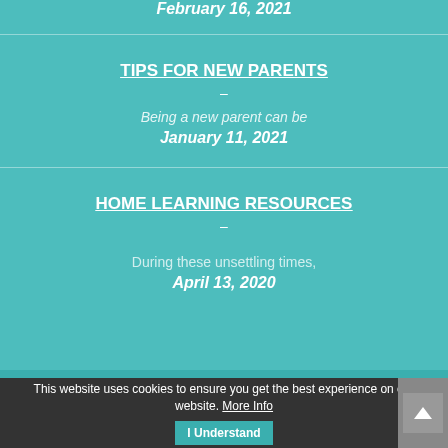February 16, 2021
TIPS FOR NEW PARENTS
-
Being a new parent can be
January 11, 2021
HOME LEARNING RESOURCES
-
During these unsettling times,
April 13, 2020
This website uses cookies to ensure you get the best experience on our website. More Info | I Understand